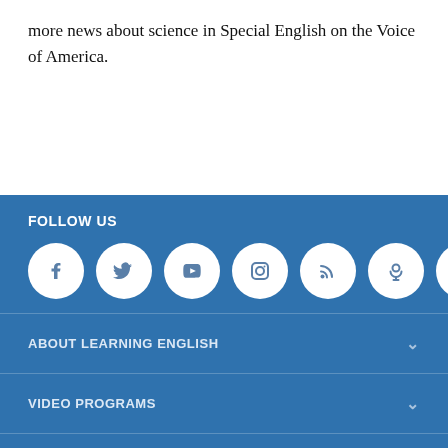more news about science in Special English on the Voice of America.
FOLLOW US
[Figure (infographic): Row of 7 social media icon circles: Facebook, Twitter, YouTube, Instagram, RSS, Podcast, Email]
ABOUT LEARNING ENGLISH
VIDEO PROGRAMS
AUDIO PROGRAMS